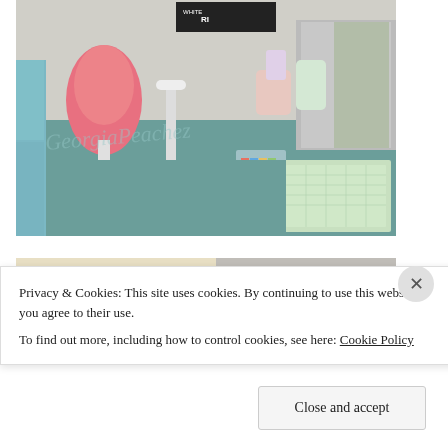[Figure (photo): Interior photo of a sewing/craft room with a pink dress form mannequin, white lamp, stacked hat boxes, handbags hanging on wall, cutting mat on the floor, and various craft supplies. Watermark reads 'GeorgiaPeachez' across the center.]
[Figure (photo): Partial view of a second photo showing a light beige/cream colored background with some items visible, partially obscured by cookie banner.]
Privacy & Cookies: This site uses cookies. By continuing to use this website, you agree to their use.
To find out more, including how to control cookies, see here: Cookie Policy
Close and accept